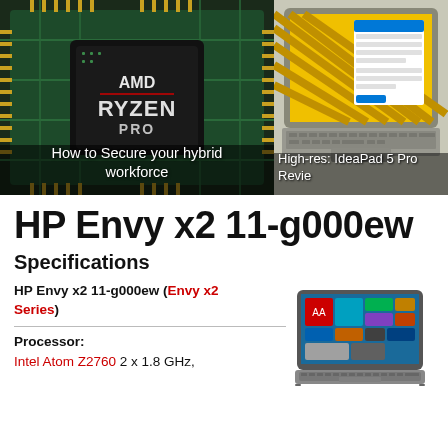[Figure (photo): AMD Ryzen PRO processor chip close-up photo]
How to Secure your hybrid workforce
[Figure (photo): Laptop with yellow striped wallpaper - IdeaPad 5 Pro Review]
High-res: IdeaPad 5 Pro Revie
HP Envy x2 11-g000ew
Specifications
HP Envy x2 11-g000ew (Envy x2 Series)
Processor: Intel Atom Z2760 2 x 1.8 GHz,